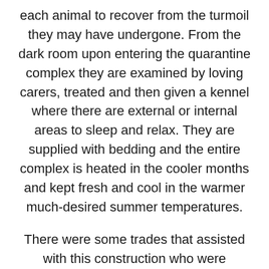each animal to recover from the turmoil they may have undergone. From the dark room upon entering the quarantine complex they are examined by loving carers, treated and then given a kennel where there are external or internal areas to sleep and relax. They are supplied with bedding and the entire complex is heated in the cooler months and kept fresh and cool in the warmer much-desired summer temperatures.
There were some trades that assisted with this construction who were amazing to deal. All SPCA staff were accommodating during the entire construction. RHT C...